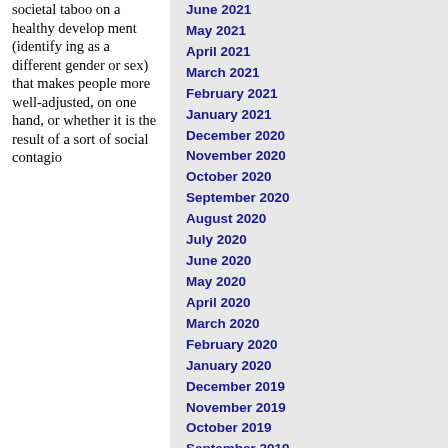societal taboo on a healthy development (identifying as a different gender or sex) that makes people more well-adjusted, on one hand, or whether it is the result of a sort of social contagio
June 2021
May 2021
April 2021
March 2021
February 2021
January 2021
December 2020
November 2020
October 2020
September 2020
August 2020
July 2020
June 2020
May 2020
April 2020
March 2020
February 2020
January 2020
December 2019
November 2019
October 2019
September 2019
August 2019
July 2019
June 2019
May 2019
April 2019
March 2019
February 2019
January 2019
December 2018
November 2018